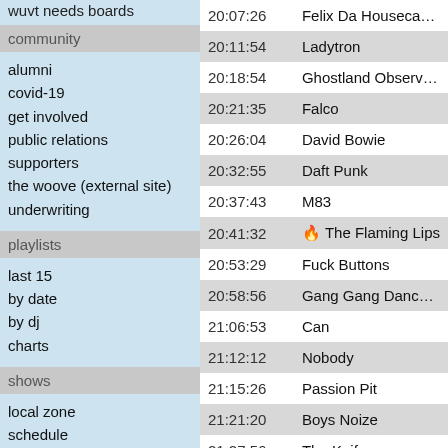wuvt needs boards
community
alumni
covid-19
get involved
public relations
supporters
the woove (external site)
underwriting
playlists
last 15
by date
by dj
charts
shows
local zone
schedule
social
facebook
twitter
instagram
| Time | Artist |
| --- | --- |
| 20:07:26 | Felix Da Houseca… |
| 20:11:54 | Ladytron |
| 20:18:54 | Ghostland Observ… |
| 20:21:35 | Falco |
| 20:26:04 | David Bowie |
| 20:32:55 | Daft Punk |
| 20:37:43 | M83 |
| 20:41:32 | 🔥 The Flaming Lips |
| 20:53:29 | Fuck Buttons |
| 20:58:56 | Gang Gang Danc… |
| 21:06:53 | Can |
| 21:12:12 | Nobody |
| 21:15:26 | Passion Pit |
| 21:21:20 | Boys Noize |
| 21:27:56 | The Knife |
| 21:32:07 | Godspeed You! B… Emperor |